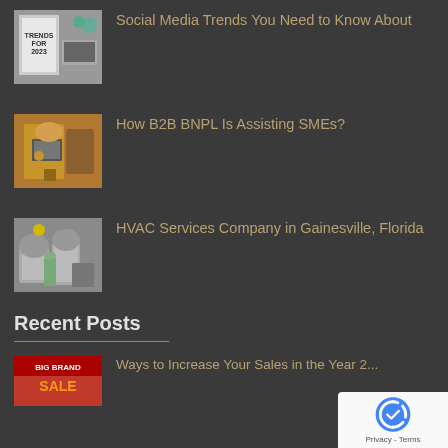[Figure (photo): Photo of a sign reading TRENDS FOR 2023 with a laptop and plants in the background]
Social Media Trends You Need to Know About
[Figure (photo): Photo of a person wearing a yellow jacket working on a laptop]
How B2B BNPL Is Assisting SMEs?
[Figure (photo): Photo of an HVAC technician in a hard hat working on air conditioning units]
HVAC Services Company in Gainesville, Florida
Recent Posts
[Figure (photo): Photo with red background showing BIG BRAND text and sale imagery]
Ways to Increase Your Sales in the Year 2...